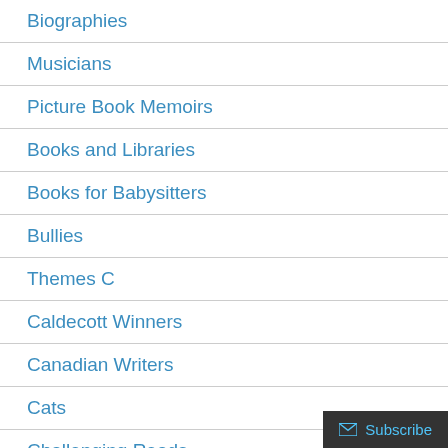Biographies
Musicians
Picture Book Memoirs
Books and Libraries
Books for Babysitters
Bullies
Themes C
Caldecott Winners
Canadian Writers
Cats
Challenging Reads